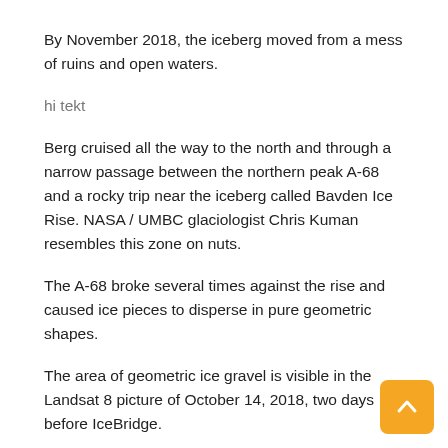By November 2018, the iceberg moved from a mess of ruins and open waters.
hi tekt
Berg cruised all the way to the north and through a narrow passage between the northern peak A-68 and a rocky trip near the iceberg called Bavden Ice Rise. NASA / UMBC glaciologist Chris Kuman resembles this zone on nuts.
The A-68 broke several times against the rise and caused ice pieces to disperse in pure geometric shapes.
The area of geometric ice gravel is visible in the Landsat 8 picture of October 14, 2018, two days before IceBridge.
A few long rectangular berg failed to pass through the insensitive; He broke into smaller parts.
The iceberg on Harbek's photo, surrounded by an annotated satellite image Landsat 8, appears closer to the shape of the trapezoid.